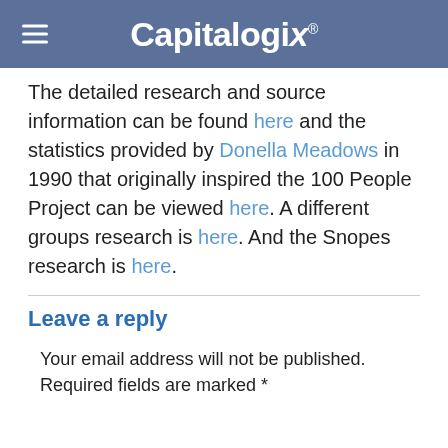Capitalogix
The detailed research and source information can be found here and the statistics provided by Donella Meadows in 1990 that originally inspired the 100 People Project can be viewed here. A different groups research is here. And the Snopes research is here.
Leave a reply
Your email address will not be published. Required fields are marked *